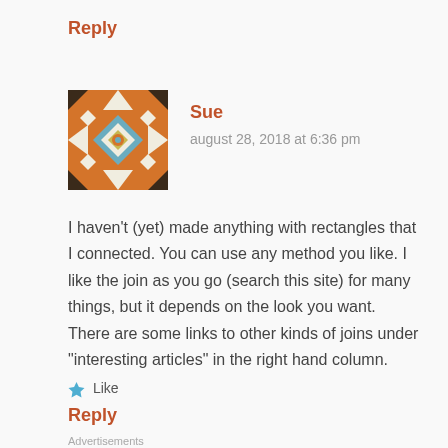Reply
[Figure (illustration): Decorative quilt-pattern avatar icon with geometric shapes in orange, brown, blue, and white]
Sue
august 28, 2018 at 6:36 pm
I haven't (yet) made anything with rectangles that I connected. You can use any method you like. I like the join as you go (search this site) for many things, but it depends on the look you want. There are some links to other kinds of joins under "interesting articles" in the right hand column.
Like
Reply
Advertisements